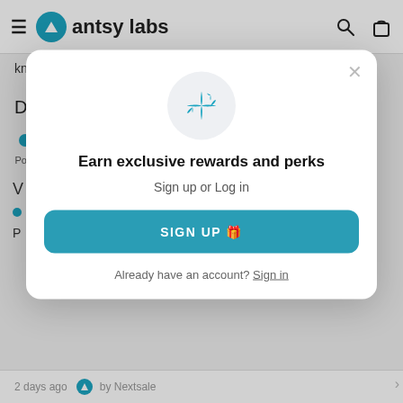antsy labs
knowing I won't close it
Design
[Figure (other): Rating slider from Poor to Excellent, positioned near Excellent end]
Earn exclusive rewards and perks
Sign up or Log in
SIGN UP 🎁
Already have an account? Sign in
2 days ago  by Nextsale